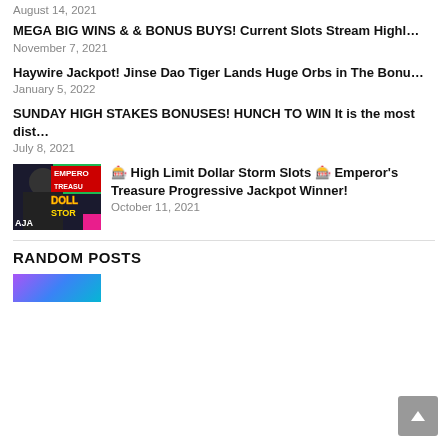August 14, 2021
MEGA BIG WINS & & BONUS BUYS! Current Slots Stream Highl…
November 7, 2021
Haywire Jackpot! Jinse Dao Tiger Lands Huge Orbs in The Bonu…
January 5, 2022
SUNDAY HIGH STAKES BONUSES! HUNCH TO WIN It is the most dist…
July 8, 2021
[Figure (photo): Thumbnail image for High Limit Dollar Storm Slots Emperor's Treasure article]
🎰 High Limit Dollar Storm Slots 🎰 Emperor's Treasure Progressive Jackpot Winner!
October 11, 2021
RANDOM POSTS
[Figure (photo): Partial thumbnail image at bottom of page]